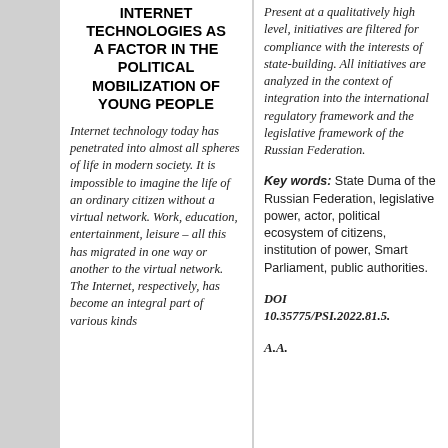INTERNET TECHNOLOGIES AS A FACTOR IN THE POLITICAL MOBILIZATION OF YOUNG PEOPLE
Internet technology today has penetrated into almost all spheres of life in modern society. It is impossible to imagine the life of an ordinary citizen without a virtual network. Work, education, entertainment, leisure – all this has migrated in one way or another to the virtual network. The Internet, respectively, has become an integral part of various kinds
Present at a qualitatively high level, initiatives are filtered for compliance with the interests of state-building. All initiatives are analyzed in the context of integration into the international regulatory framework and the legislative framework of the Russian Federation.
Key words: State Duma of the Russian Federation, legislative power, actor, political ecosystem of citizens, institution of power, Smart Parliament, public authorities.
DOI 10.35775/PSI.2022.81.5.
A.A.